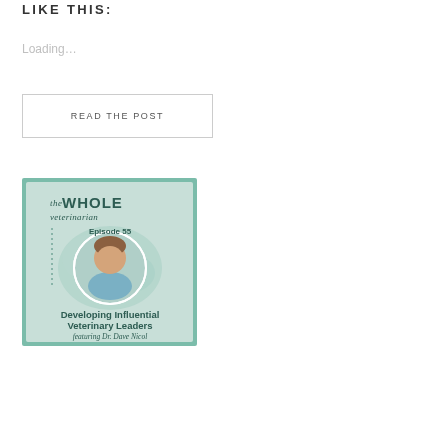LIKE THIS:
Loading...
READ THE POST
[Figure (illustration): Podcast cover art for 'The Whole Veterinarian' Episode 55, featuring a photo of Dr. Dave Nicol in a circular frame against a watercolor teal/green background. Text reads: 'the WHOLE veterinarian, Episode 55, Developing Influential Veterinary Leaders featuring Dr. Dave Nicol']